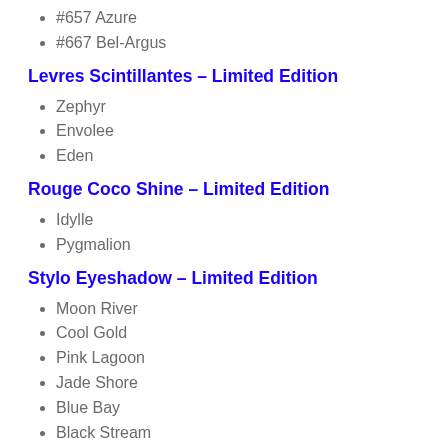#657 Azure
#667 Bel-Argus
Levres Scintillantes – Limited Edition
Zephyr
Envolee
Eden
Rouge Coco Shine – Limited Edition
Idylle
Pygmalion
Stylo Eyeshadow – Limited Edition
Moon River
Cool Gold
Pink Lagoon
Jade Shore
Blue Bay
Black Stream
Stylo Yeux Waterproof – Limited Edition